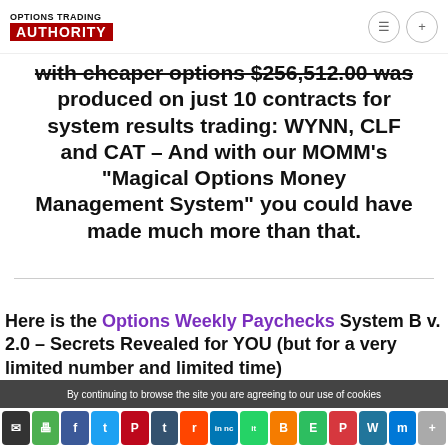OPTIONS TRADING AUTHORITY
with cheaper options $256,512.00 was produced on just 10 contracts for system results trading: WYNN, CLF and CAT – And with our MOMM's "Magical Options Money Management System" you could have made much more than that.
Here is the Options Weekly Paychecks System B v. 2.0 – Secrets Revealed for YOU (but for a very limited number and limited time)
By continuing to browse the site you are agreeing to our use of cookies